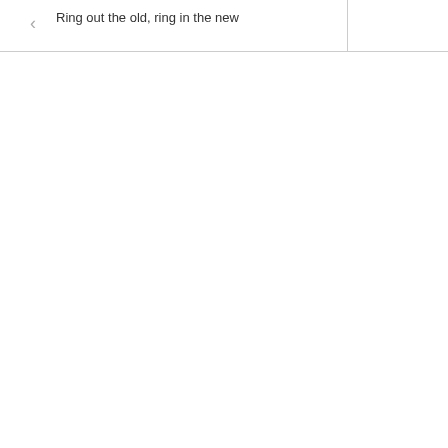Ring out the old, ring in the new